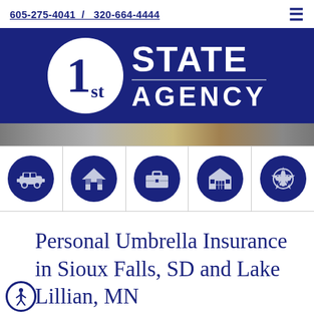605-275-4041  /  320-664-4444
[Figure (logo): 1st State Agency logo — white circle with '1st' in navy, followed by 'STATE AGENCY' in white text on navy background]
[Figure (photo): Partial photo strip showing a desk/office background]
[Figure (infographic): Row of 5 navy circle icons: car (auto insurance), house (home insurance), briefcase (business insurance), barn (farm insurance), medical star of life (health/medical insurance)]
Personal Umbrella Insurance in Sioux Falls, SD and Lake Lillian, MN